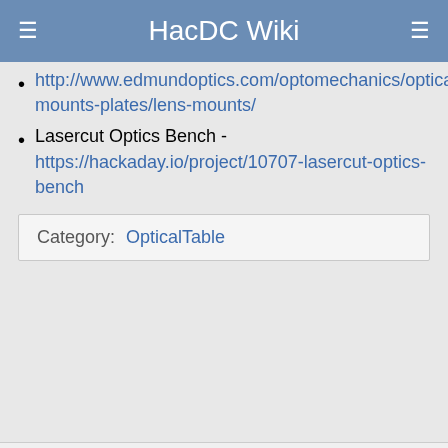HacDC Wiki
http://www.edmundoptics.com/optomechanics/optical-mounts-plates/lens-mounts/
Lasercut Optics Bench - https://hackaday.io/project/10707-lasercut-optics-bench
| Category: | OpticalTable |
This page was last edited on 19 July 2016, at 11:18. Content is available under GNU Free Documentation License 1.3 or later unless otherwise noted. Privacy policy   About HacDC Wiki   Disclaimers   Powered by MediaWiki